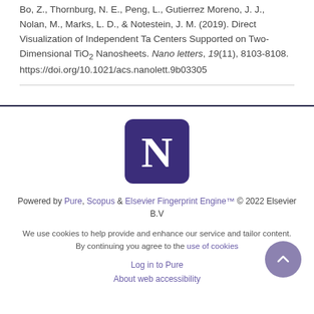Bo, Z., Thornburg, N. E., Peng, L., Gutierrez Moreno, J. J., Nolan, M., Marks, L. D., & Notestein, J. M. (2019). Direct Visualization of Independent Ta Centers Supported on Two-Dimensional TiO₂ Nanosheets. Nano letters, 19(11), 8103-8108. https://doi.org/10.1021/acs.nanolett.9b03305
[Figure (logo): Northwestern University 'N' logo — white letter N on dark purple/navy rounded square background]
Powered by Pure, Scopus & Elsevier Fingerprint Engine™ © 2022 Elsevier B.V
We use cookies to help provide and enhance our service and tailor content. By continuing you agree to the use of cookies
Log in to Pure
About web accessibility